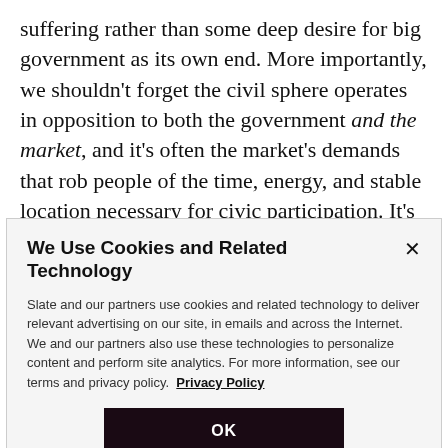suffering rather than some deep desire for big government as its own end. More importantly, we shouldn't forget the civil sphere operates in opposition to both the government and the market, and it's often the market's demands that rob people of the time, energy, and stable location necessary for civic participation. It's often government programs that provide safety from market instability, giving space and
We Use Cookies and Related Technology
Slate and our partners use cookies and related technology to deliver relevant advertising on our site, in emails and across the Internet. We and our partners also use these technologies to personalize content and perform site analytics. For more information, see our terms and privacy policy. Privacy Policy
OK